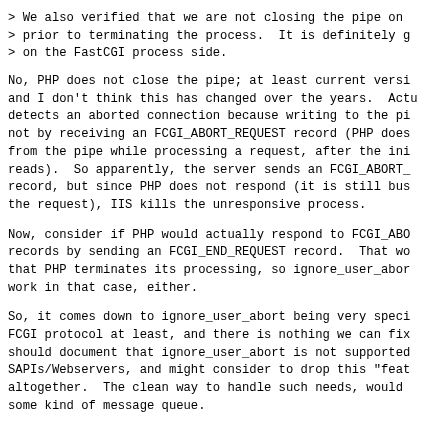> We also verified that we are not closing the pipe on
> prior to terminating the process.  It is definitely g
> on the FastCGI process side.
No, PHP does not close the pipe; at least current versi and I don't think this has changed over the years.  Actu detects an aborted connection because writing to the pi not by receiving an FCGI_ABORT_REQUEST record (PHP does from the pipe while processing a request, after the ini reads).  So apparently, the server sends an FCGI_ABORT_ record, but since PHP does not respond (it is still bus the request), IIS kills the unresponsive process.
Now, consider if PHP would actually respond to FCGI_ABO records by sending an FCGI_END_REQUEST record.  That wo that PHP terminates its processing, so ignore_user_abor work in that case, either.
So, it comes down to ignore_user_abort being very speci FCGI protocol at least, and there is nothing we can fix should document that ignore_user_abort is not supported SAPIs/Webservers, and might consider to drop this "feat altogether.  The clean way to handle such needs, would some kind of message queue.